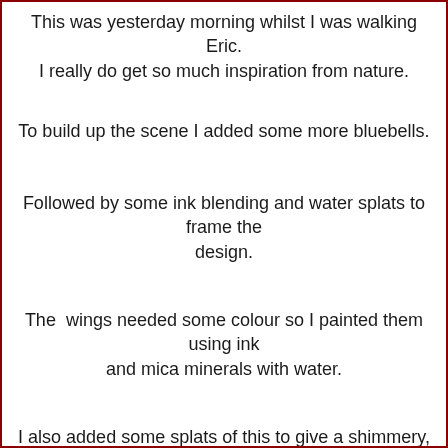This was yesterday morning whilst I was walking Eric. I really do get so much inspiration from nature.
To build up the scene I added some more bluebells.
Followed by some ink blending and water splats to frame the design.
The  wings needed some colour so I painted them using ink and mica minerals with water.
I also added some splats of this to give a shimmery, magical feel to the design.